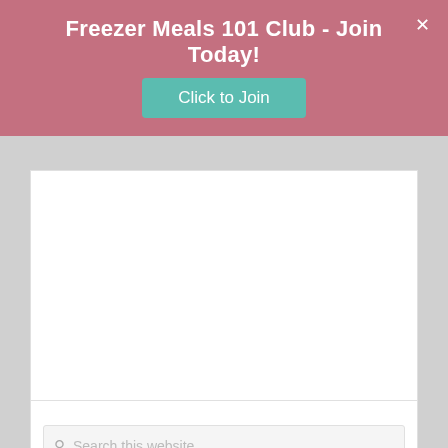Freezer Meals 101 Club - Join Today!
Click to Join
Filed Under: Freezer Meal Recipes, Freezer Skillet Meals
Tagged With: Asian, beef, Mongolian
Search this website